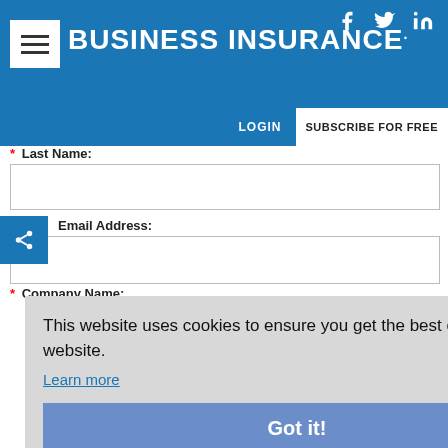BUSINESS INSURANCE
LOGIN   SUBSCRIBE FOR FREE
* Last Name:
Email Address:
* Company Name:
This website uses cookies to ensure you get the best experience on our website. Learn more
Got it!